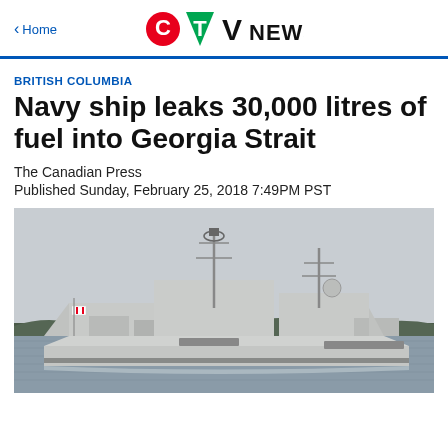CTV News
BRITISH COLUMBIA
Navy ship leaks 30,000 litres of fuel into Georgia Strait
The Canadian Press
Published Sunday, February 25, 2018 7:49PM PST
[Figure (photo): A Canadian Navy frigate ship at sea with overcast skies and forested shoreline in the background.]